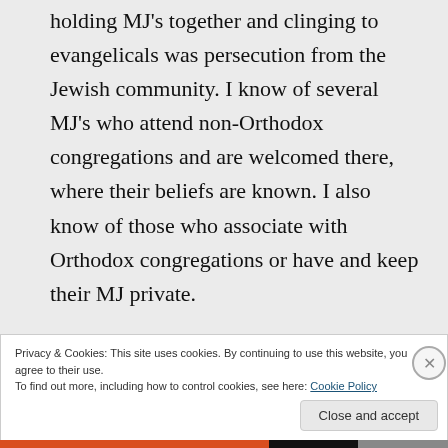holding MJ's together and clinging to evangelicals was persecution from the Jewish community. I know of several MJ's who attend non-Orthodox congregations and are welcomed there, where their beliefs are known. I also know of those who associate with Orthodox congregations or have and keep their MJ private.
Privacy & Cookies: This site uses cookies. By continuing to use this website, you agree to their use.
To find out more, including how to control cookies, see here: Cookie Policy